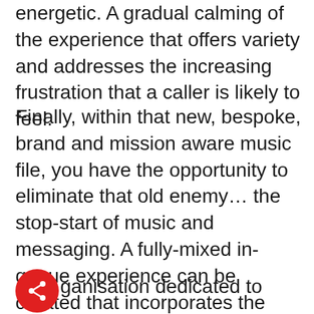energetic. A gradual calming of the experience that offers variety and addresses the increasing frustration that a caller is likely to feel.
Finally, within that new, bespoke, brand and mission aware music file, you have the opportunity to eliminate that old enemy… the stop-start of music and messaging. A fully-mixed in-queue experience can be created that incorporates the messages and the music in one beautiful, single file. The music can be dipped under each message, so the speech stands out, but the music continues. So your caller doesn't think they're about to be answered every time the music stops.
As an organisation dedicated to improving customer experience in the contact centre, we have a huge library of royalty free tracks at our disposal. More